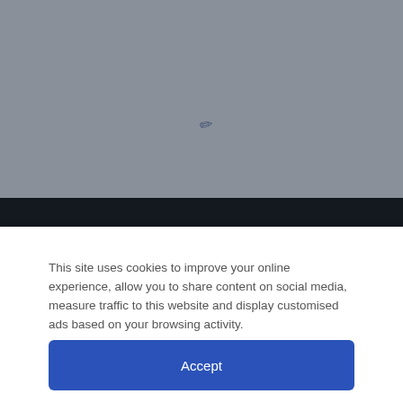[Figure (screenshot): Gray header area of a website with a small dark pencil/edit icon in the center]
NIALLER9.COM
HOME
ABOUT
NEWSLETTER
This site uses cookies to improve your online experience, allow you to share content on social media, measure traffic to this website and display customised ads based on your browsing activity.
Accept